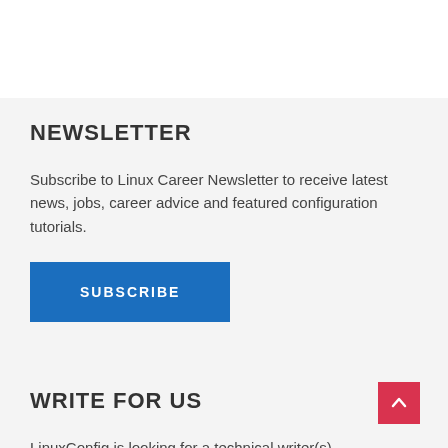NEWSLETTER
Subscribe to Linux Career Newsletter to receive latest news, jobs, career advice and featured configuration tutorials.
SUBSCRIBE
WRITE FOR US
LinuxConfig is looking for a technical writer(s)